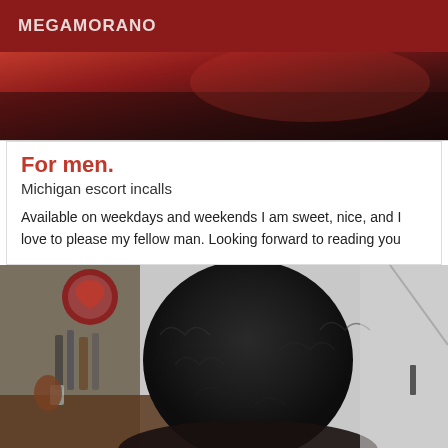MEGAMORANO
[Figure (photo): Top photo showing dark red fabric or clothing, partially cropped]
For men.
Michigan escort incalls
Available on weekdays and weekends I am sweet, nice, and I love to please my fellow man. Looking forward to reading you
[Figure (photo): Photo of a person with curly black hair seen from behind, sitting at a table with bottles and glasses, a decorative red symbol on the wall behind]